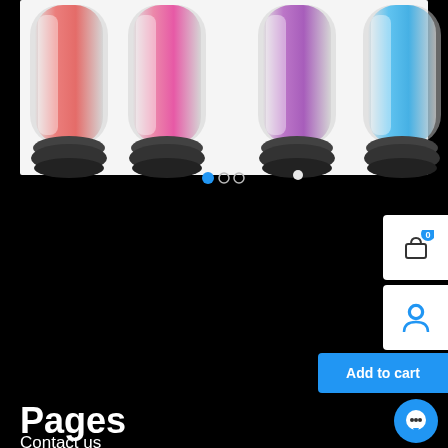[Figure (photo): Four colorful vibrators with clear crystal-like bodies and black bases, in red, pink, purple, and blue colors, displayed against a white background. Carousel dots visible below.]
Pages
Buy sex toy in India -Adultslove
Cart
Checkout
Contact us